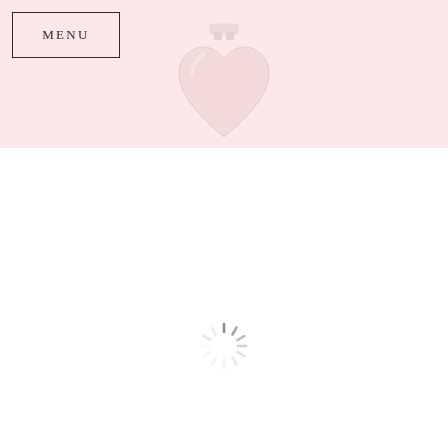[Figure (screenshot): Pink banner header background with a heart-shaped perfume bottle centered at top]
MENU
[Figure (other): A loading spinner (circular dashed loader) in gray, centered on the white lower section of the page]